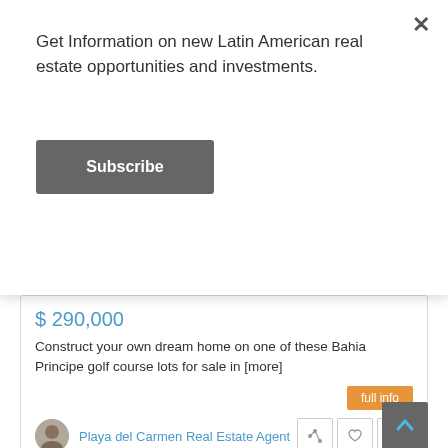Get Information on new Latin American real estate opportunities and investments.
Subscribe
$ 290,000
Construct your own dream home on one of these Bahia Principe golf course lots for sale in [more]
full info
Playa del Carmen Real Estate Agent
[Figure (photo): Modern multi-story residential building with balconies, photographed at dusk with Featured and Sales tags overlaid]